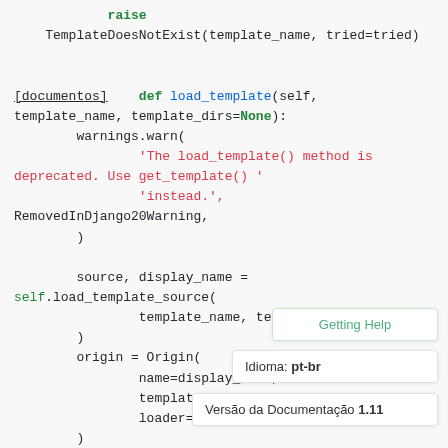raise
    TemplateDoesNotExist(template_name, tried=tried)


[documentos]    def load_template(self,
template_name, template_dirs=None):
        warnings.warn(
                'The load_template() method is
deprecated. Use get_template() '
                'instead.',
RemovedInDjango20Warning,
        )

        source, display_name =
self.load_template_source(
                template_name, template_di
        )
        origin = Origin(
                name=display_name,
                template_name=template_name.
                loader=self,
        )
        try:
Getting Help
Idioma: pt-br
Versão da Documentação 1.11